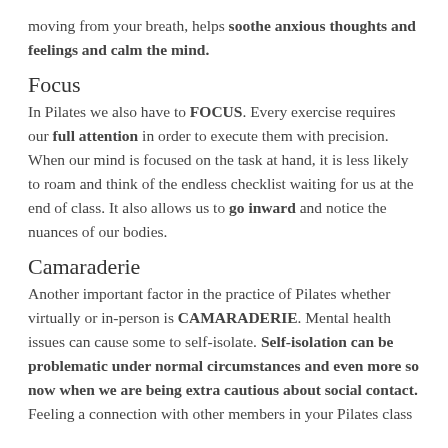moving from your breath, helps soothe anxious thoughts and feelings and calm the mind.
Focus
In Pilates we also have to FOCUS. Every exercise requires our full attention in order to execute them with precision. When our mind is focused on the task at hand, it is less likely to roam and think of the endless checklist waiting for us at the end of class. It also allows us to go inward and notice the nuances of our bodies.
Camaraderie
Another important factor in the practice of Pilates whether virtually or in-person is CAMARADERIE. Mental health issues can cause some to self-isolate. Self-isolation can be problematic under normal circumstances and even more so now when we are being extra cautious about social contact. Feeling a connection with other members in your Pilates class